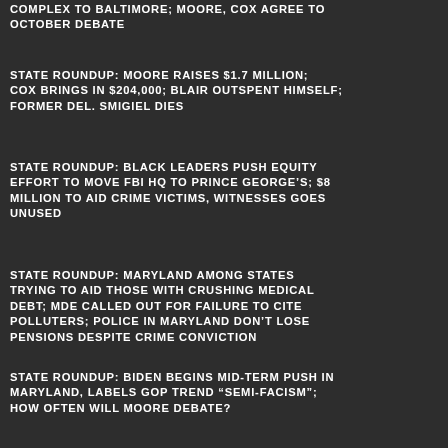COMPLEX TO BALTIMORE; MOORE, COX AGREE TO OCTOBER DEBATE
STATE ROUNDUP: MOORE RAISES $1.7 MILLION; COX BRINGS IN $204,000; BLAIR OUTSPENT HIMSELF; FORMER DEL. SMIGIEL DIES
STATE ROUNDUP: BLACK LEADERS PUSH EQUITY EFFORT TO MOVE FBI HQ TO PRINCE GEORGE'S; $8 MILLION TO AID CRIME VICTIMS, WITNESSES GOES UNUSED
STATE ROUNDUP: MARYLAND AMONG STATES TRYING TO AID THOSE WITH CRUSHING MEDICAL DEBT; MDE CALLED OUT FOR FAILURE TO CITE POLLUTERS; POLICE IN MARYLAND DON'T LOSE PENSIONS DESPITE CRIME CONVICTION
STATE ROUNDUP: BIDEN BEGINS MID-TERM PUSH IN MARYLAND, LABELS GOP TREND “SEMI-FACISM”; HOW OFTEN WILL MOORE DEBATE?
VIA KETO APPLE GUMMIES IN AUSTRALIA SCAM EXPOSED